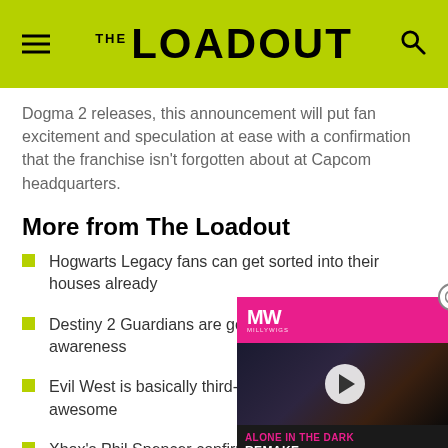THE LOADOUT
Dogma 2 releases, this announcement will put fan excitement and speculation at ease with a confirmation that the franchise isn't forgotten about at Capcom headquarters.
More from The Loadout
Hogwarts Legacy fans can get sorted into their houses already
Destiny 2 Guardians are go... awareness
Evil West is basically third-... awesome
Xbox's Phil Spencer confirms plans to put Sor...
[Figure (screenshot): Video overlay showing 'Alone in the Dark Remake' with MW logo on pink background and play button]